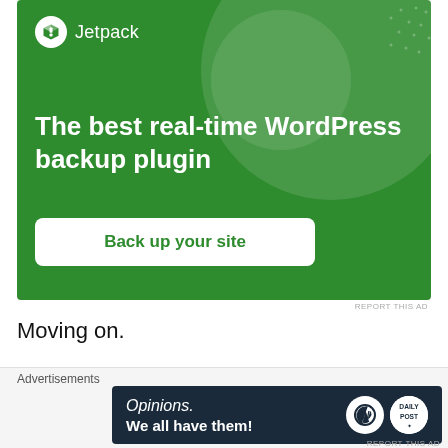[Figure (screenshot): Jetpack advertisement banner with green background. Shows Jetpack logo, headline 'The best real-time WordPress backup plugin', and a 'Back up your site' button.]
REPORT THIS AD
Moving on.
[Figure (photo): Landscape photo of a lake or river with bare trees visible on the right side against a cloudy sky.]
Advertisements
[Figure (screenshot): WordPress.com advertisement banner with dark navy background. Shows 'Opinions. We all have them!' text with WordPress and another logo on the right.]